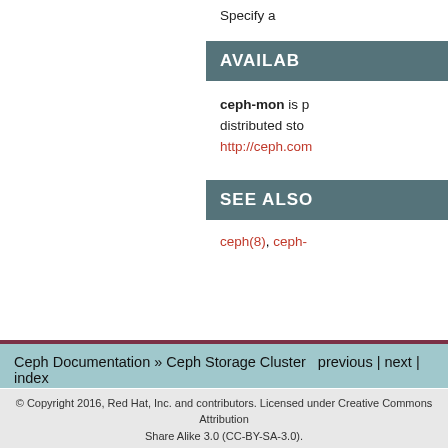Specify a
AVAILAB
ceph-mon is p distributed sto http://ceph.com
SEE ALSO
ceph(8), ceph-
Ceph Documentation » Ceph Storage Cluster  previous | next | index » Object Store Manpages »  v: nautilus
© Copyright 2016, Red Hat, Inc. and contributors. Licensed under Creative Commons Attribution Share Alike 3.0 (CC-BY-SA-3.0).